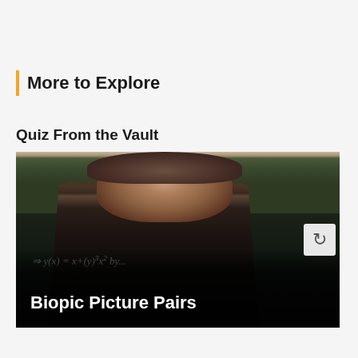More to Explore
Quiz From the Vault
[Figure (photo): Movie still showing a man in front of a chalkboard with mathematical equations, with 'Biopic Picture Pairs' text overlaid on a dark bottom strip. A reload/refresh button icon appears in the upper right of the image.]